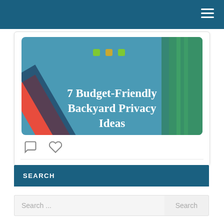Navigation bar with hamburger menu
[Figure (screenshot): Article card with image titled '7 Budget-Friendly Backyard Privacy Ideas' with comment and like icons below]
SEARCH
Search ... Search